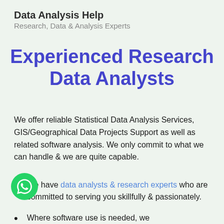Data Analysis Help
Research, Data & Analysis Experts
Experienced Research Data Analysts
We offer reliable Statistical Data Analysis Services, GIS/Geographical Data Projects Support as well as related software analysis. We only commit to what we can handle & we are quite capable.
We have data analysts & research experts who are committed to serving you skillfully & passionately.
Where software use is needed, we